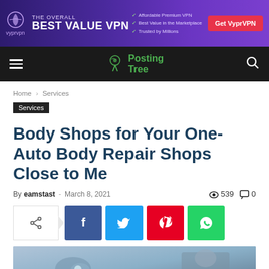[Figure (infographic): VyprVPN advertisement banner with purple gradient background. Logo on left, 'The Overall BEST VALUE VPN' text in center, checkmarks listing 'Affordable Premium VPN', 'Best Value in the Marketplace', 'Trusted by Millions', and a red 'Get VyprVPN' button on right.]
Posting Tree — navigation bar with hamburger menu and search icon
Home › Services
Services
Body Shops for Your One-Auto Body Repair Shops Close to Me
By eamstast - March 8, 2021  539  0
[Figure (infographic): Social share bar with native share icon, Facebook (blue), Twitter (cyan), Pinterest (red), WhatsApp (green) buttons]
[Figure (photo): Partial photo of a car being repaired, showing headlight area and a mechanic in a blue-grey shirt]